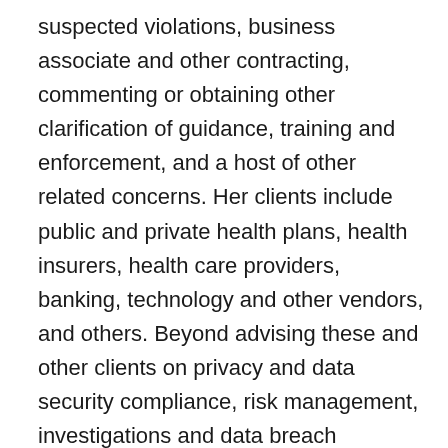suspected violations, business associate and other contracting, commenting or obtaining other clarification of guidance, training and enforcement, and a host of other related concerns. Her clients include public and private health plans, health insurers, health care providers, banking, technology and other vendors, and others. Beyond advising these and other clients on privacy and data security compliance, risk management, investigations and data breach response and remediation, Ms. Stamer also advises and represents clients on OCR and other HHS, Department of Labor, IRS, FTC, DOD and other health care industry investigation, enforcement and other compliance, public policy, regulatory, staffing, and other operations and risk management concerns. She also is the author of numerous highly acclaimed publications, workshops and tools for HIPAA or other compliance